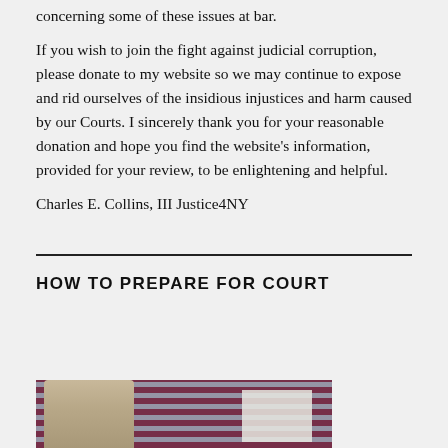concerning some of these issues at bar.
If you wish to join the fight against judicial corruption, please donate to my website so we may continue to expose and rid ourselves of the insidious injustices and harm caused by our Courts. I sincerely thank you for your reasonable donation and hope you find the website’s information, provided for your review, to be enlightening and helpful.
Charles E. Collins, III Justice4NY
HOW TO PREPARE FOR COURT
[Figure (photo): A person standing in front of an American flag, with a document or paper visible in the background.]